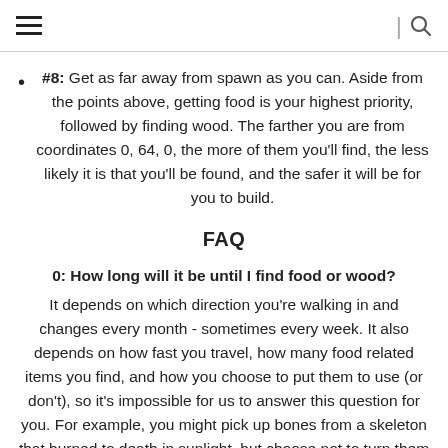≡ | 🔍
#8: Get as far away from spawn as you can. Aside from the points above, getting food is your highest priority, followed by finding wood. The farther you are from coordinates 0, 64, 0, the more of them you'll find, the less likely it is that you'll be found, and the safer it will be for you to build.
FAQ
0: How long will it be until I find food or wood?
It depends on which direction you're walking in and changes every month - sometimes every week. It also depends on how fast you travel, how many food related items you find, and how you choose to put them to use (or don't), so it's impossible for us to answer this question for you. For example, you might pick up bones from a skeleton that burned to death in sunlight, but choose not to turn them into bonemeal, use the bonemeal to grow tall grass, harvest the grass for seeds, and grow wheat. A VERY